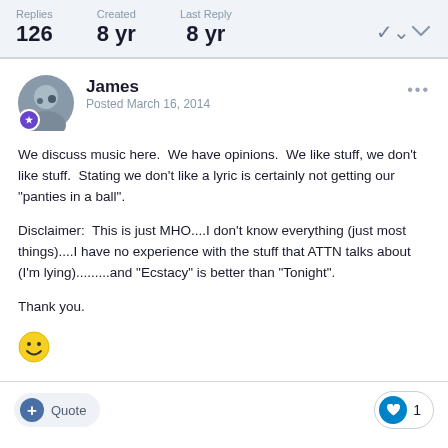Replies 126   Created 8 yr   Last Reply 8 yr
James
Posted March 16, 2014
We discuss music here.  We have opinions.  We like stuff, we don't like stuff.  Stating we don't like a lyric is certainly not getting our "panties in a ball".

Disclaimer:  This is just MHO....I don't know everything (just most things)....I have no experience with the stuff that ATTN talks about (I'm lying).........and "Ecstacy" is better than "Tonight".

Thank you.
[Figure (illustration): Yellow smiley face emoji]
+ Quote   ❤ 1